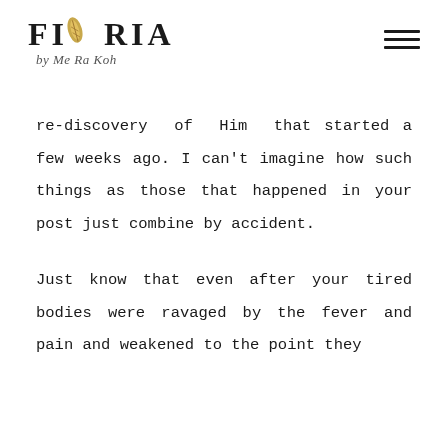[Figure (logo): FIORIA by Me Ra Koh logo with golden leaf accent and script byline]
re-discovery of Him that started a few weeks ago. I can't imagine how such things as those that happened in your post just combine by accident.
Just know that even after your tired bodies were ravaged by the fever and pain and weakened to the point they